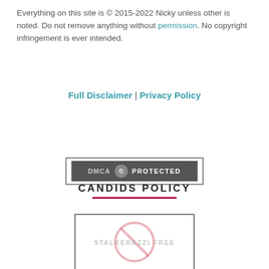Everything on this site is © 2015-2022 Nicky unless other is noted. Do not remove anything without permission. No copyright infringement is ever intended.
Full Disclaimer | Privacy Policy
[Figure (logo): DMCA Protected badge: dark grey rectangle with 'DMCA' text, a circled icon, and 'PROTECTED' text in white on dark background, inside a bordered box.]
CANDIDS POLICY
[Figure (logo): Stalkerazzi Free badge: a red circle-with-slash prohibition symbol overlaid with text 'STALKERAZZI FREE' inside a rectangular bordered box.]